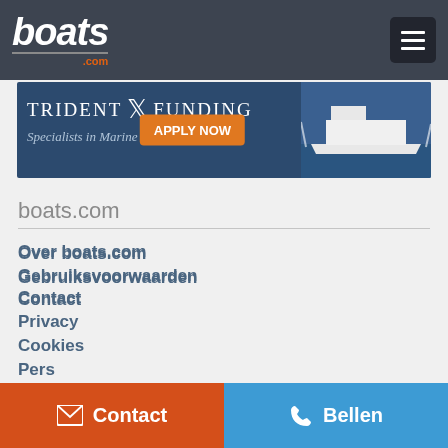boats.com
[Figure (screenshot): Trident Funding advertisement banner - Specialists in Marine Finance, with Apply Now button and boat image]
boats.com
Over boats.com
Contact
Gebruiksvoorwaarden
Privacy
Cookies
Pers
Media Kit
Contact | Bellen